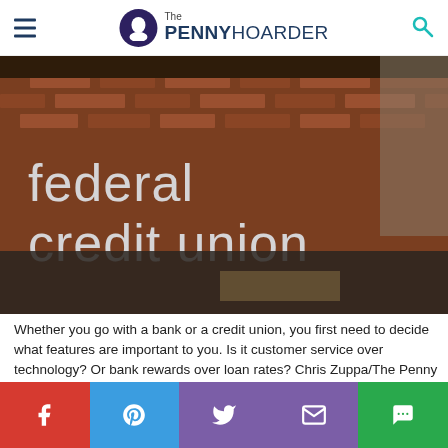The PENNY HOARDER
[Figure (photo): Exterior brick wall of a federal credit union building with large white lettering reading 'federal credit union', photographed in muted daylight.]
Whether you go with a bank or a credit union, you first need to decide what features are important to you. Is it customer service over technology? Or bank rewards over loan rates? Chris Zuppa/The Penny Hoarder
If you're looking to...